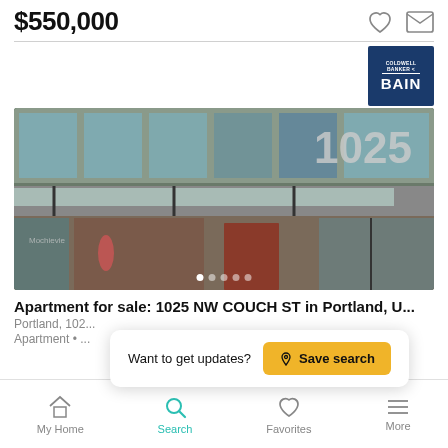$550,000
[Figure (photo): Exterior photo of apartment building at 1025 NW Couch St, Portland, showing glass facade, canopy, and brick elements]
Apartment for sale: 1025 NW COUCH ST in Portland, U...
Portland, 102...
Apartment • ...
Want to get updates?  Save search
My Home  Search  Favorites  More